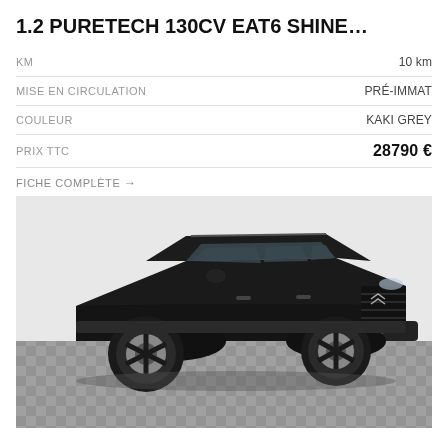1.2 PURETECH 130CV EAT6 SHINE…
| KM | 10 km |
| MISE EN CIRCULATION | PRÉ-IMMAT |
| COULEUR | KAKI GREY |
| PRIX TTC | 28790 € |
FICHE COMPLÈTE →
[Figure (photo): Dark black Citroën C3 Aircross SUV photographed from a 3/4 front-left angle in an indoor showroom with grey checkered floor and white walls.]